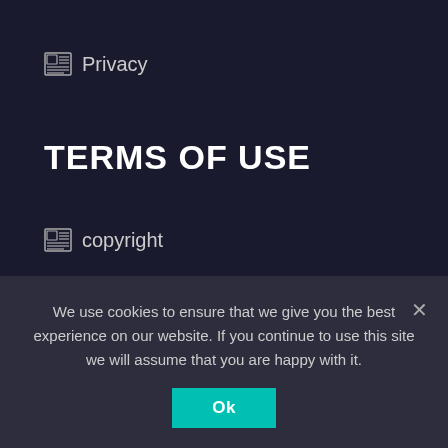Privacy
TERMS OF USE
copyright
DMCA
eula
Terms of Use
TOP SOFTWARE
We use cookies to ensure that we give you the best experience on our website. If you continue to use this site we will assume that you are happy with it.